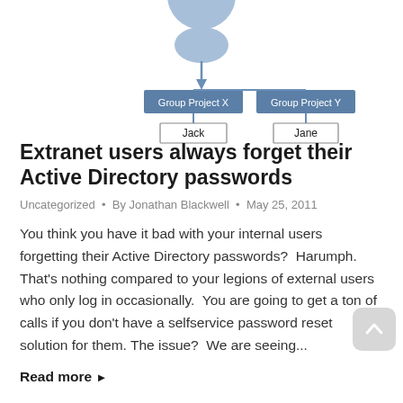[Figure (organizational-chart): Partial organizational chart showing Group Project X with Jack below it, and Group Project Y with Jane below it, connected by lines and arrows from above.]
Extranet users always forget their Active Directory passwords
Uncategorized · By Jonathan Blackwell · May 25, 2011
You think you have it bad with your internal users forgetting their Active Directory passwords?  Harumph.  That's nothing compared to your legions of external users who only log in occasionally.  You are going to get a ton of calls if you don't have a selfservice password reset solution for them. The issue?  We are seeing...
Read more ▶